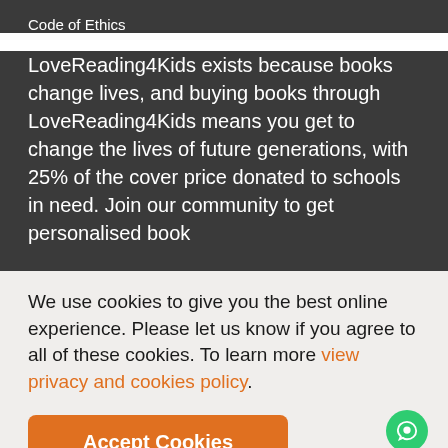Code of Ethics
LoveReading4Kids exists because books change lives, and buying books through LoveReading4Kids means you get to change the lives of future generations, with 25% of the cover price donated to schools in need. Join our community to get personalised book
We use cookies to give you the best online experience. Please let us know if you agree to all of these cookies. To learn more view privacy and cookies policy.
Accept Cookies